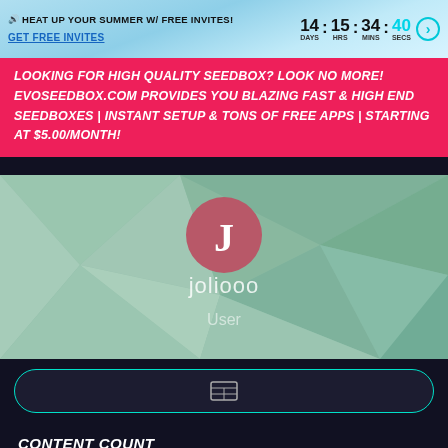🔊 HEAT UP YOUR SUMMER W/ FREE INVITES! 14 DAYS : 15 HRS : 34 MINS : 40 SECS GET FREE INVITES
LOOKING FOR HIGH QUALITY SEEDBOX? LOOK NO MORE! EVOSEEDBOX.COM PROVIDES YOU BLAZING FAST & HIGH END SEEDBOXES | INSTANT SETUP & TONS OF FREE APPS | STARTING AT $5.00/MONTH!
[Figure (other): User profile card with polygon low-poly geometric background in muted greens and teals. Shows avatar circle with letter J, username joliooo, and role User]
[Figure (other): Dark button with teal border and grid/table icon]
CONTENT COUNT
7